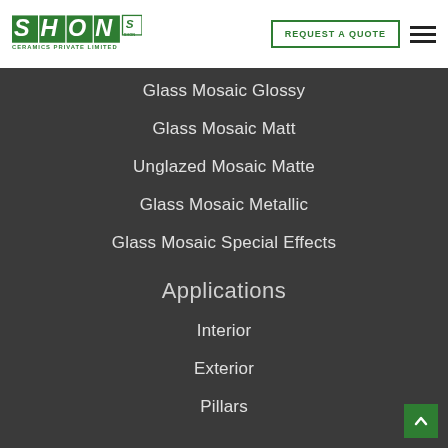[Figure (logo): SHON Ceramics Private Limited logo with green lettering and SHON icon badge]
Glass Mosaic Glossy
Glass Mosaic Matt
Unglazed Mosaic Matte
Glass Mosaic Metallic
Glass Mosaic Special Effects
Applications
Interior
Exterior
Pillars